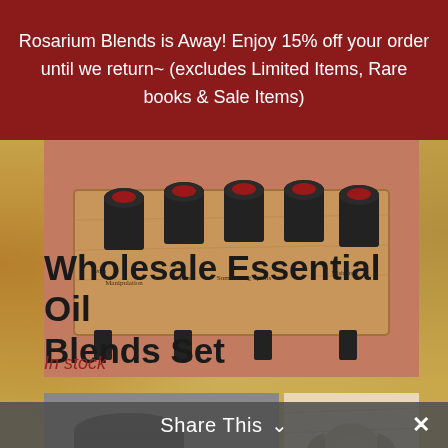Rosarium Blends is Away! Enjoy 15% off your order until we return~ (excludes Limited Items, Rare books & Sale Items)
[Figure (photo): A wooden tray holding multiple small dark glass essential oil bottles with labels, photographed from above at an angle.]
Wholesale Essential Oil Blends Set
In stock
[Figure (photo): Two black cylindrical candles or containers on the left, and an illustrated print with occult/gothic imagery on the right.]
Share This ∨  ✕